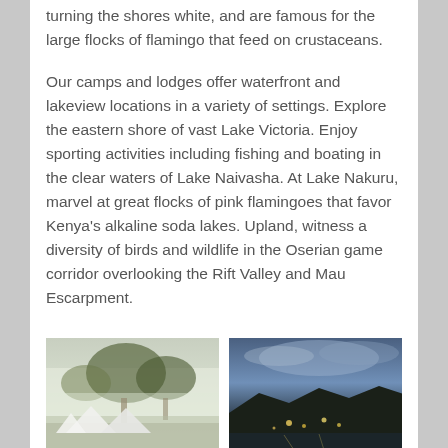turning the shores white, and are famous for the large flocks of flamingo that feed on crustaceans.
Our camps and lodges offer waterfront and lakeview locations in a variety of settings. Explore the eastern shore of vast Lake Victoria. Enjoy sporting activities including fishing and boating in the clear waters of Lake Naivasha. At Lake Nakuru, marvel at great flocks of pink flamingoes that favor Kenya’s alkaline soda lakes. Upland, witness a diversity of birds and wildlife in the Oserian game corridor overlooking the Rift Valley and Mau Escarpment.
[Figure (photo): Tented camp with white tents among trees, misty/foggy atmosphere]
[Figure (photo): Landscape at dusk/evening with dark trees and cloudy blue sky, lights visible]